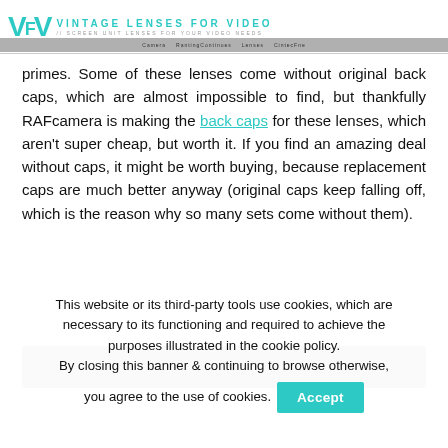VINTAGE LENSES FOR VIDEO
primes. Some of these lenses come without original back caps, which are almost impossible to find, but thankfully RAFcamera is making the back caps for these lenses, which aren't super cheap, but worth it. If you find an amazing deal without caps, it might be worth buying, because replacement caps are much better anyway (original caps keep falling off, which is the reason why so many sets come without them).
[Figure (photo): Dark banner image, likely a photo of camera lenses or video equipment]
This website or its third-party tools use cookies, which are necessary to its functioning and required to achieve the purposes illustrated in the cookie policy. By closing this banner & continuing to browse otherwise, you agree to the use of cookies. Accept